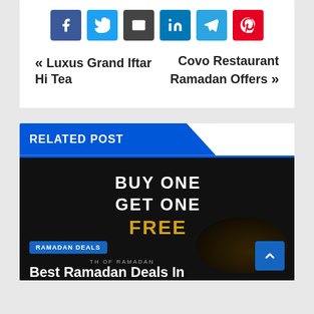[Figure (infographic): Social share buttons: Facebook (blue), Twitter (light blue), Email (dark), LinkedIn (blue), Telegram (teal), Pinterest (red)]
« Luxus Grand Iftar Hi Tea   Covo Restaurant Ramadan Offers »
RELATED POST
[Figure (photo): Promotional image with dark background showing 'BUY ONE GET ONE FREE' text in white and gold, with a dish visible at the bottom. Overlaid with 'RAMADAN DEALS' badge and partial title 'Best Ramadan Deals In']